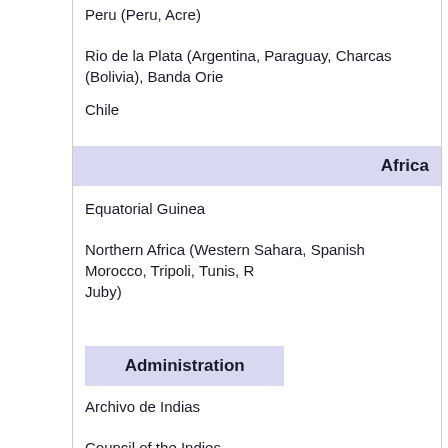Peru (Peru, Acre)
Rio de la Plata (Argentina, Paraguay, Charcas (Bolivia), Banda Orie…
Chile
Africa
Equatorial Guinea
Northern Africa (Western Sahara, Spanish Morocco, Tripoli, Tunis, … Juby)
Administration
Archivo de Indias
Council of the Indies
Cabildo
Exequatur
Laws of the Indies
Papal bull
Royal Decree of Graces
Trial of residence